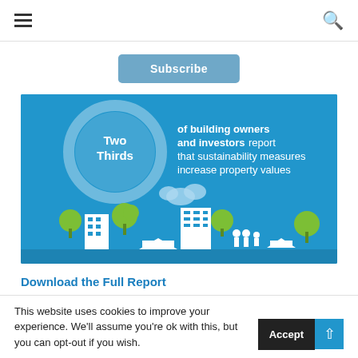≡  🔍
Subscribe
[Figure (infographic): Blue infographic showing a large circle with 'Two Thirds' text inside, alongside text reading 'of building owners and investors report that sustainability measures increase property values'. Below is an illustrated cityscape with white building outlines, green trees, and small human figures on a blue background with clouds.]
Download the Full Report
This website uses cookies to improve your experience. We'll assume you're ok with this, but you can opt-out if you wish.